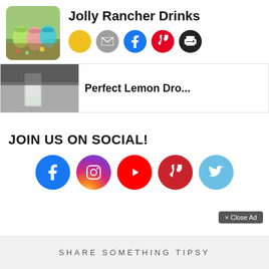Jolly Rancher Drinks
[Figure (photo): Thumbnail photo of colorful Jolly Rancher drinks in small glasses on a wooden board with candy]
[Figure (infographic): Row of share icons: yellow bookmark, gray email, blue Facebook, red Pinterest, black print]
[Figure (photo): Photo of a clear shot glass with a light liquid]
Perfect Lemon Dro...
JOIN US ON SOCIAL!
[Figure (infographic): Social media icons row: Facebook (blue), Instagram (purple/gradient), YouTube (red), Pinterest (red), Twitter (light blue)]
× Close Ad
SHARE SOMETHING TIPSY